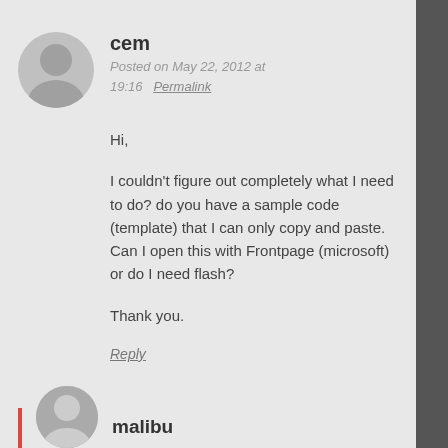cem
Posted on May 22, 2012 at 19:16   Permalink
Hi,
I couldn't figure out completely what I need to do? do you have a sample code (template) that I can only copy and paste. Can I open this with Frontpage (microsoft) or do I need flash?
Thank you.
Reply
malibu